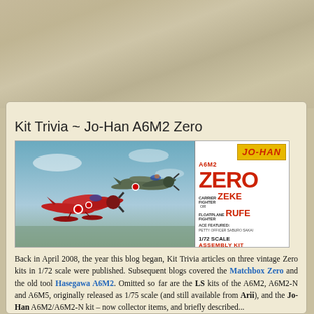SATURDAY, 8 MAY 2021
Kit Trivia ~ Jo-Han A6M2 Zero
[Figure (photo): Box art for Jo-Han A6M2 Zero 1/72 scale assembly kit, showing two Japanese Zero aircraft in flight (a red floatplane Rufe variant and a grey-green Zeke carrier fighter), alongside the box art panel reading: JO-HAN, A6M2, ZERO, CARRIER FIGHTER ZEKE OR FLOATPLANE FIGHTER RUFE, ACE FEATURED: PETTY OFFICER SABURO SAKAI, 1/72 SCALE ASSEMBLY KIT]
Back in April 2008, the year this blog began, Kit Trivia articles on three vintage Zero kits in 1/72 scale were published. Subsequent blogs covered the Matchbox Zero and the old tool Hasegawa A6M2. Omitted so far are the LS kits of the A6M2, A6M2-N and A6M5, originally released as 1/75 scale (and still available from Arii), and the Jo-Han A6M2/A6M2-N kit – now collector items, and briefly described...